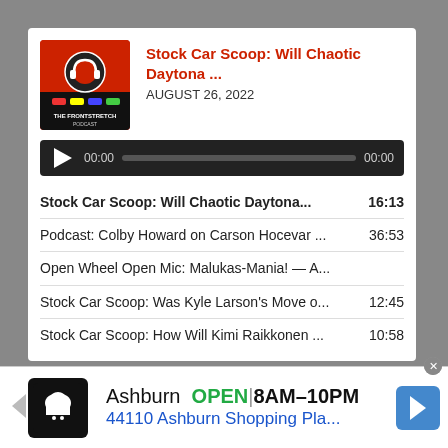[Figure (screenshot): Podcast logo for The Frontstretch Podcast with red background and car silhouettes]
Stock Car Scoop: Will Chaotic Daytona ...
AUGUST 26, 2022
[Figure (screenshot): Audio player bar with play button, time 00:00, progress track, end time 00:00]
Stock Car Scoop: Will Chaotic Daytona...  16:13
Podcast: Colby Howard on Carson Hocevar ...  36:53
Open Wheel Open Mic: Malukas-Mania! — A...
Stock Car Scoop: Was Kyle Larson's Move o...  12:45
Stock Car Scoop: How Will Kimi Raikkonen ...  10:58
[Figure (logo): Frontstretch FS logo in circular badge, white and red]
Frontstretch
[Figure (screenshot): Advertisement banner: Ashburn OPEN 8AM-10PM, 44110 Ashburn Shopping Pla...]